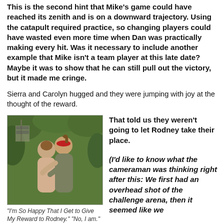This is the second hint that Mike's game could have reached its zenith and is on a downward trajectory.  Using the catapult required practice, so changing players could have wasted even more time when Dan was practically making every hit.  Was it necessary to include another example that Mike isn't a team player at this late date?  Maybe it was to show that he can still pull out the victory, but it made me cringe.
Sierra and Carolyn hugged and they were jumping with joy at the thought of the reward.
[Figure (photo): Two women hugging outdoors, one wearing a red headband, green foliage in background. A sign is visible in the background.]
"I'm So Happy That I Get to Give My Reward to Rodney." "No, I am."
That told us they weren't going to let Rodney take their place.
(I'd like to know what the cameraman was thinking right after this:  We first had an overhead shot of the challenge arena, then it seemed like we